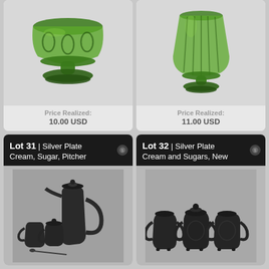[Figure (photo): Green glass pedestal compote/candy dish with decorative oval pattern, photographed on white background]
Price Realized:
10.00 USD
[Figure (photo): Green glass goblet/vase with ribbed pattern on a pedestal base, photographed on white background]
Price Realized:
11.00 USD
Lot 31 | Silver Plate Cream, Sugar, Pitcher
[Figure (photo): Silver plate cream and sugar set with tall pitcher/coffee pot, small creamer, sugar bowl with lid, and a small spoon, darkened with age]
Lot 32 | Silver Plate Cream and Sugars, New
[Figure (photo): Silver plate cream and sugar set with two handled sugar bowls with lids and one creamer with handle, ornate decorative pattern, darkened with age]